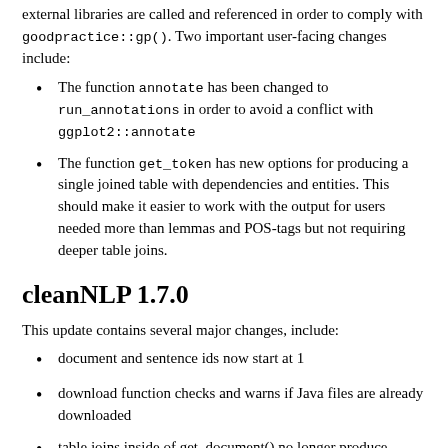external libraries are called and referenced in order to comply with goodpractice::gp(). Two important user-facing changes include:
The function annotate has been changed to run_annotations in order to avoid a conflict with ggplot2::annotate
The function get_token has new options for producing a single joined table with dependencies and entities. This should make it easier to work with the output for users needed more than lemmas and POS-tags but not requiring deeper table joins.
cleanNLP 1.7.0
This update contains several major changes, include:
document and sentence ids now start at 1
download function checks and warns if Java files are already downloaded
table joins inside of get_document() no longer produce verbose output